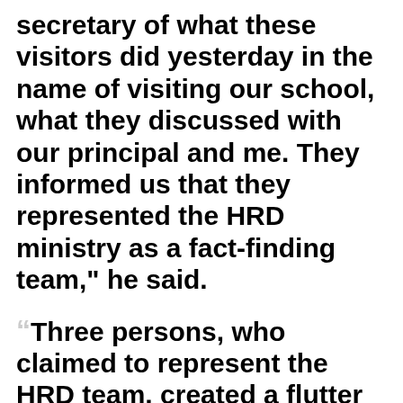secretary of what these visitors did yesterday in the name of visiting our school, what they discussed with our principal and me. They informed us that they represented the HRD ministry as a fact-finding team," he said.
Three persons, who claimed to represent the HRD team, created a flutter yesterday when they visited the school in connection with the suicide of class VIII student Rouvanjit Rawla days after he was